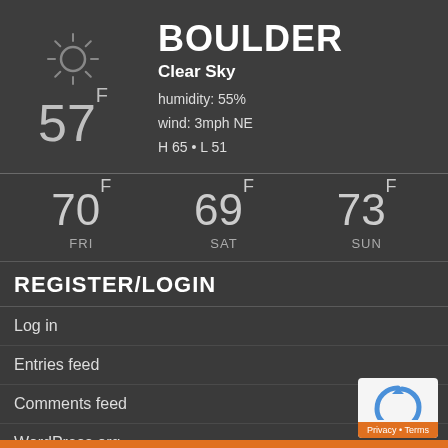BOULDER
Clear Sky
humidity: 55%
wind: 3mph NE
H 65 • L 51
[Figure (infographic): Sun icon and temperature display showing 57°F]
70F FRI
69F SAT
73F SUN
REGISTER/LOGIN
Log in
Entries feed
Comments feed
WordPress.org